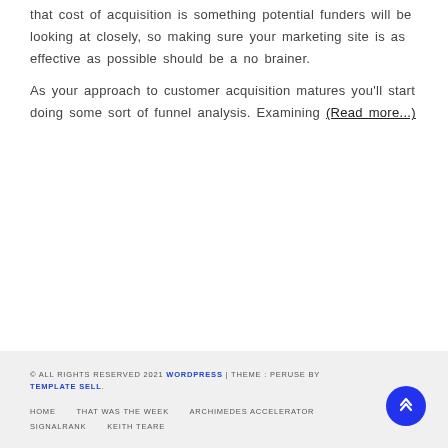that cost of acquisition is something potential funders will be looking at closely, so making sure your marketing site is as effective as possible should be a no brainer.
As your approach to customer acquisition matures you'll start doing some sort of funnel analysis. Examining (Read more...)
© ALL RIGHTS RESERVED 2021 WORDPRESS | THEME : PERUSE BY TEMPLATE SELL. HOME    THAT WAS THE WEEK    ARCHIMEDES ACCELERATOR    SIGNALRANK    KEITH TEARE